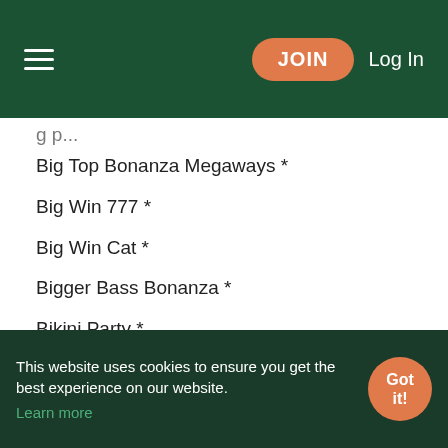JOIN  Log In
Big p...
Big Top Bonanza Megaways *
Big Win 777 *
Big Win Cat *
Bigger Bass Bonanza *
Bikini Party *
Birds On A Wire *
Bison Bonanza *
Black Bull *
Black Gold 2 Megaways *
Black Hawk Deluxe *
This website uses cookies to ensure you get the best experience on our website. Learn more